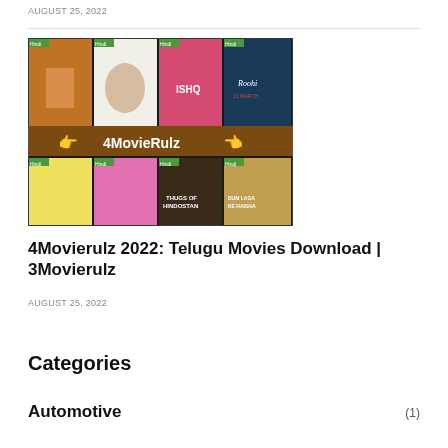AUGUST 25, 2022
[Figure (illustration): 4MovieRulz movie collage banner showing 8 Bollywood/Hindi movie posters arranged in a 2x4 grid with a brown banner in the middle displaying the text '4MovieRulz' with arrow hands pointing at it. Movies include posters for Ishq, Roohi, Thugs of Hindostan, and Dum Laga Ke Haisha among others.]
4Movierulz 2022: Telugu Movies Download | 3Movierulz
AUGUST 25, 2022
Categories
Automotive